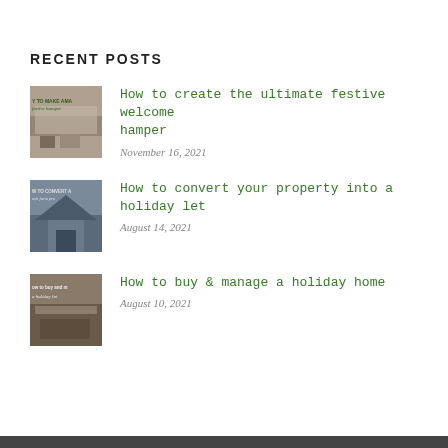RECENT POSTS
How to create the ultimate festive welcome hamper
November 16, 2021
How to convert your property into a holiday let
August 14, 2021
How to buy & manage a holiday home
August 10, 2021